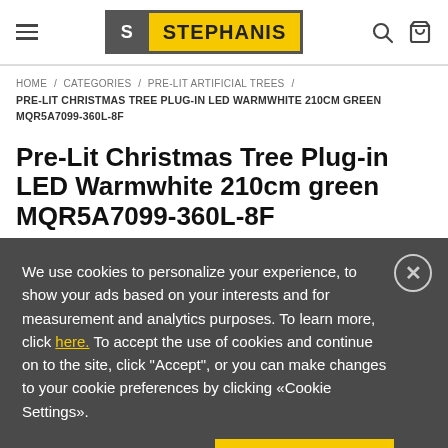STEPHANIS — site header with hamburger menu, logo, search and cart icons
HOME / CATEGORIES / PRE-LIT ARTIFICIAL TREES / PRE-LIT CHRISTMAS TREE PLUG-IN LED WARMWHITE 210CM GREEN MQR5A7099-360L-8F
Pre-Lit Christmas Tree Plug-in LED Warmwhite 210cm green MQR5A7099-360L-8F
We use cookies to personalize your experience, to show your ads based on your interests and for measurement and analytics purposes. To learn more, click here. To accept the use of cookies and continue on to the site, click "Accept", or you can make changes to your cookie preferences by clicking «Cookie Settings».